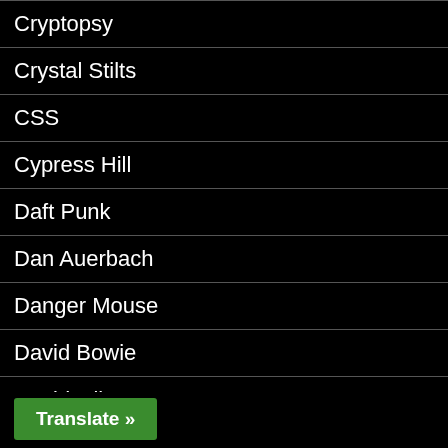Cryptopsy
Crystal Stilts
CSS
Cypress Hill
Daft Punk
Dan Auerbach
Danger Mouse
David Bowie
David Gilmour
Dead Kennedys
Deadsoul Tribe
Translate »